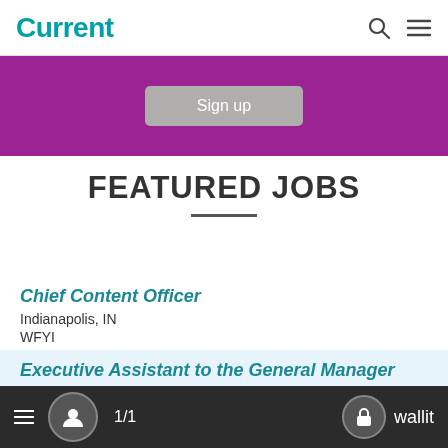Current
[Figure (screenshot): Purple signup banner with a grey 'Sign up' button]
FEATURED JOBS
Chief Content Officer
Indianapolis, IN
WFYI
Executive Assistant to the General Manager
Kansas City, MO
KCUR 89.3
1/1   wallit